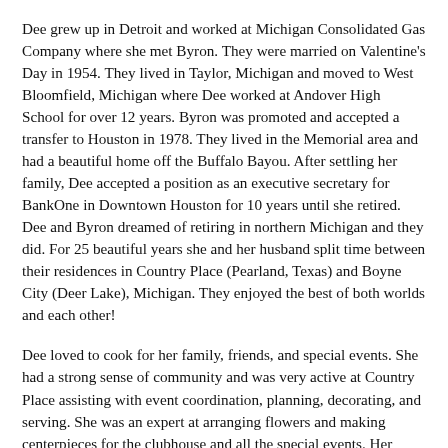Dee grew up in Detroit and worked at Michigan Consolidated Gas Company where she met Byron. They were married on Valentine's Day in 1954. They lived in Taylor, Michigan and moved to West Bloomfield, Michigan where Dee worked at Andover High School for over 12 years. Byron was promoted and accepted a transfer to Houston in 1978. They lived in the Memorial area and had a beautiful home off the Buffalo Bayou. After settling her family, Dee accepted a position as an executive secretary for BankOne in Downtown Houston for 10 years until she retired. Dee and Byron dreamed of retiring in northern Michigan and they did. For 25 beautiful years she and her husband split time between their residences in Country Place (Pearland, Texas) and Boyne City (Deer Lake), Michigan. They enjoyed the best of both worlds and each other!
Dee loved to cook for her family, friends, and special events. She had a strong sense of community and was very active at Country Place assisting with event coordination, planning, decorating, and serving. She was an expert at arranging flowers and making centerpieces for the clubhouse and all the special events. Her volunteer work included Boyne Valley Garden Club, Public Libraries, and serving as a Docent for the Heritage Center in Downtown Houston for 8 years. Dee lit up a room with her vivacious personality and lived each day to the fullest. She will be greatly missed by all who knew and loved her.